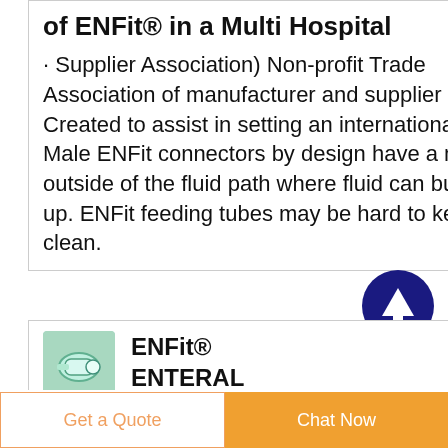of ENFit® in a Multi Hospital
· Supplier Association) Non-profit Trade Association of manufacturer and supplier Created to assist in setting an international Male ENFit connectors by design have a moat outside of the fluid path where fluid can build up. ENFit feeding tubes may be hard to keep clean.
[Figure (illustration): Blue circle with white upward arrow, scroll-to-top button]
[Figure (photo): Photo of ENFit medical connector, teal/green colored]
ENFit® ENTERAL
Get a Quote
Chat Now